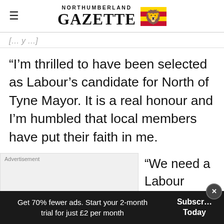NORTHUMBERLAND GAZETTE
[partial/cut-off text above]
“I’m thrilled to have been selected as Labour’s candidate for North of Tyne Mayor. It is a real honour and I’m humbled that local members have put their faith in me.
Advertisement
“We need a Labour Mayor now more than ever to
Get 70% fewer ads. Start your 2-month trial for just £2 per month
Subscribe Today